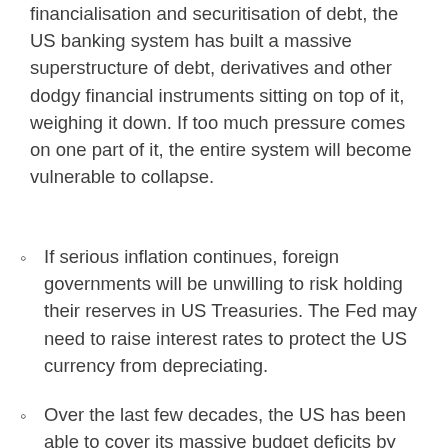financialisation and securitisation of debt, the US banking system has built a massive superstructure of debt, derivatives and other dodgy financial instruments sitting on top of it, weighing it down. If too much pressure comes on one part of it, the entire system will become vulnerable to collapse.
If serious inflation continues, foreign governments will be unwilling to risk holding their reserves in US Treasuries. The Fed may need to raise interest rates to protect the US currency from depreciating.
Over the last few decades, the US has been able to cover its massive budget deficits by issuing debt. Continuous big budget deficits have